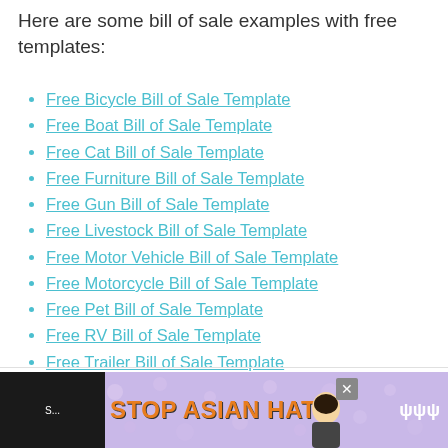Here are some bill of sale examples with free templates:
Free Bicycle Bill of Sale Template
Free Boat Bill of Sale Template
Free Cat Bill of Sale Template
Free Furniture Bill of Sale Template
Free Gun Bill of Sale Template
Free Livestock Bill of Sale Template
Free Motor Vehicle Bill of Sale Template
Free Motorcycle Bill of Sale Template
Free Pet Bill of Sale Template
Free RV Bill of Sale Template
Free Trailer Bill of Sale Template
What is a Bill of Sale?
[Figure (illustration): Stop Asian Hate advertisement banner with floral background, orange bold text 'STOP ASIAN HATE', anime-style avatar, and close button]